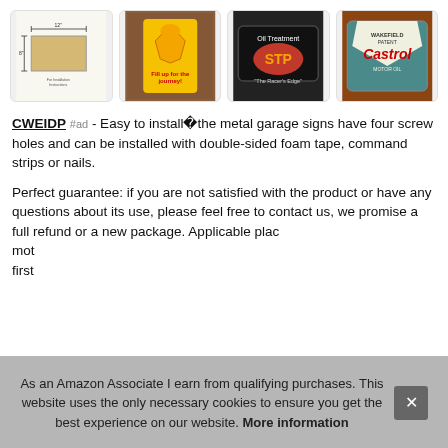[Figure (photo): Four thumbnail images of metal garage signs: a dimensional diagram showing 8x12 inch sign, a Shell oil retro sign on wood background, an STP Oil Treatment 'The Racer's Edge' sign on dark background, and a Wakefield Patent Castrol Motor Oil sign on brick background.]
CWEIDP #ad - Easy to install the metal garage signs have four screw holes and can be installed with double-sided foam tape, command strips or nails.
Perfect guarantee: if you are not satisfied with the product or have any questions about its use, please feel free to contact us, we promise a full refund or a new package. Applicable plac mot first
As an Amazon Associate I earn from qualifying purchases. This website uses the only necessary cookies to ensure you get the best experience on our website. More information